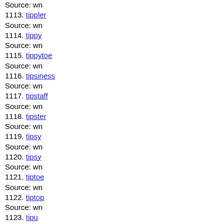Source: wn
1113. tippler
Source: wn
1114. tippy
Source: wn
1115. tippytoe
Source: wn
1116. tipsiness
Source: wn
1117. tipstaff
Source: wn
1118. tipster
Source: wn
1119. tipsy
Source: wn
1120. tipsy
Source: wn
1121. tiptoe
Source: wn
1122. tiptop
Source: wn
1123. tipu
Source: wn
1124. tipu
Source: wn
1125. tipuana
Source: wn
1126. tipulidae
Source: wn
1127. tirade
Source: wn
1128. tiramisu
Source: wn